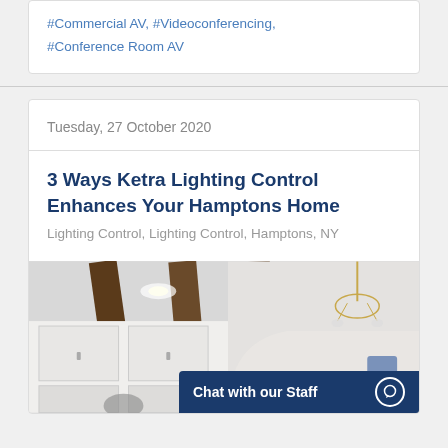#Commercial AV, #Videoconferencing, #Conference Room AV
Tuesday, 27 October 2020
3 Ways Ketra Lighting Control Enhances Your Hamptons Home
Lighting Control, Lighting Control, Hamptons, NY
[Figure (photo): Interior photo of a bright white kitchen/living area with dark wood ceiling beams, white cabinetry, and hanging chandeliers]
Chat with our Staff